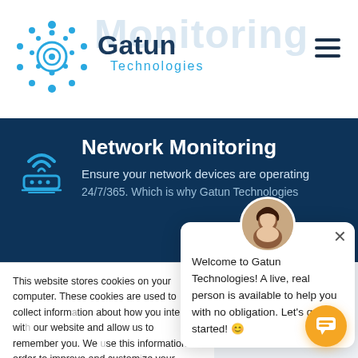[Figure (logo): Gatun Technologies logo with circular dot pattern icon and company name]
Network Monitoring
Ensure your network devices are operating 24/7/365. Which is why Gatun Technologies
This website stores cookies on your computer. These cookies are used to collect information about how you interact with our website and allow us to remember you. We use this information in order to improve and customize your browsing experience and for analytics and metrics about our visitors both on this website and other media. To find out more about the cookies we use, see our Privacy Policy.
If you decline, your information won't be tracked when you visit this website. A single cookie will be used in your browser to remember your preference not to be tracked.
Welcome to Gatun Technologies! A live, real person is available to help you with no obligation. Let's get started! 😊